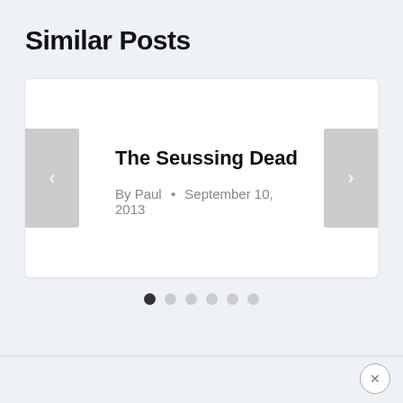Similar Posts
The Seussing Dead
By Paul • September 10, 2013